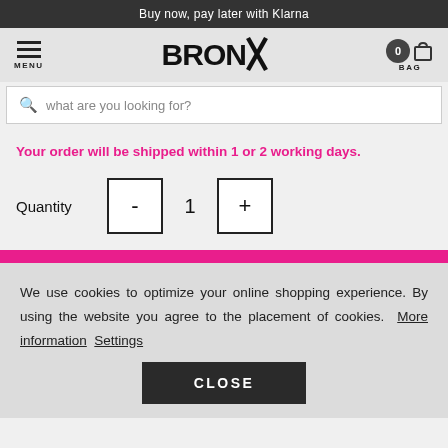Buy now, pay later with Klarna
[Figure (screenshot): BRONX logo with menu icon and bag icon showing 0 items]
what are you looking for?
Your order will be shipped within 1 or 2 working days.
Quantity  -  1  +
We use cookies to optimize your online shopping experience. By using the website you agree to the placement of cookies. More information Settings
CLOSE